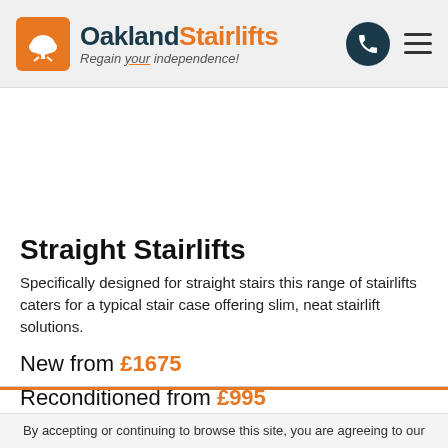[Figure (logo): Oakland Stairlifts logo with orange tree icon and tagline 'Regain your independence!']
Straight Stairlifts
Specifically designed for straight stairs this range of stairlifts caters for a typical stair case offering slim, neat stairlift solutions.
New from £1675
Reconditioned from £995
View All Straight Stairlifts
By accepting or continuing to browse this site, you are agreeing to our